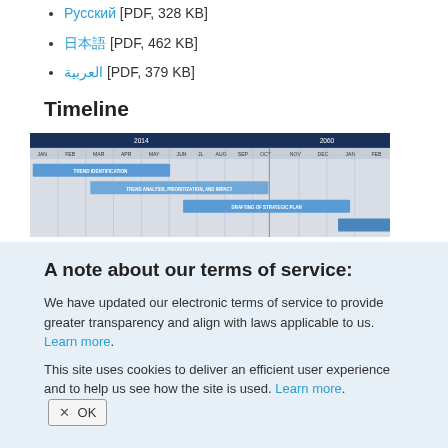Русский [PDF, 328 KB]
日本語 [PDF, 462 KB]
العربية [PDF, 379 KB]
Timeline
[Figure (infographic): Gantt-style timeline chart showing 2014 and 2060 columns. Rows: TREND IDENTIFICATION (spans Jan-May 2014), TREND ANALYSIS, PRIORITIZATION, AND IMPACT (spans Mar-Jul 2014), DRAFTING OF STRATEGIC PLAN (spans Jun-Nov 2014), and a final bar extending into 2060.]
A note about our terms of service:
We have updated our electronic terms of service to provide greater transparency and align with laws applicable to us. Learn more.
This site uses cookies to deliver an efficient user experience and to help us see how the site is used. Learn more.  ✕ OK